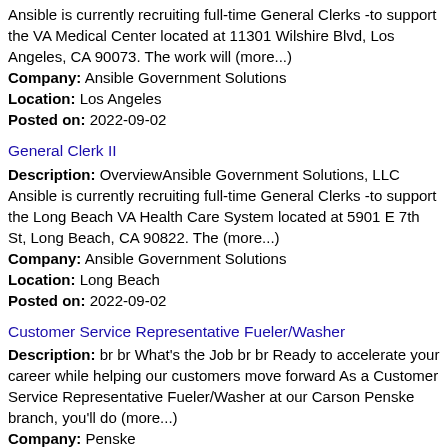Ansible is currently recruiting full-time General Clerks -to support the VA Medical Center located at 11301 Wilshire Blvd, Los Angeles, CA 90073. The work will (more...) Company: Ansible Government Solutions Location: Los Angeles Posted on: 2022-09-02
General Clerk II Description: OverviewAnsible Government Solutions, LLC Ansible is currently recruiting full-time General Clerks -to support the Long Beach VA Health Care System located at 5901 E 7th St, Long Beach, CA 90822. The (more...) Company: Ansible Government Solutions Location: Long Beach Posted on: 2022-09-02
Customer Service Representative Fueler/Washer Description: br br What's the Job br br Ready to accelerate your career while helping our customers move forward As a Customer Service Representative Fueler/Washer at our Carson Penske branch, you'll do (more...) Company: Penske Location: Carson Posted on: 2022-08-26
Short Haul Driver Description: br br Overview br br Americold provides temperature-controlled warehousing and transportation to food